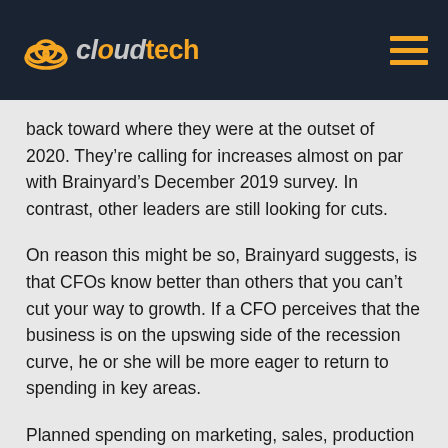cloudtech
back toward where they were at the outset of 2020. They’re calling for increases almost on par with Brainyard’s December 2019 survey. In contrast, other leaders are still looking for cuts.
On reason this might be so, Brainyard suggests, is that CFOs know better than others that you can’t cut your way to growth. If a CFO perceives that the business is on the upswing side of the recession curve, he or she will be more eager to return to spending in key areas.
Planned spending on marketing, sales, production and product support are now also recovering as compared with April.